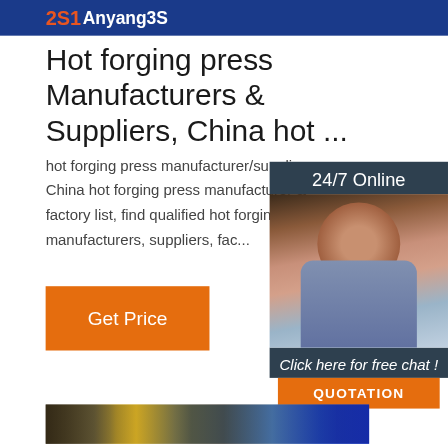[Figure (photo): Top banner with Anyang3S logo on blue background]
Hot forging press Manufacturers & Suppliers, China hot ...
hot forging press manufacturer/supplier, China hot forging press manufacturer & factory list, find qualified hot forging press manufacturers, suppliers, fac...
[Figure (photo): Orange Get Price button]
[Figure (photo): 24/7 Online customer service chat widget with woman wearing headset, dark background, Click here for free chat, QUOTATION button]
[Figure (photo): Industrial machinery/forging press equipment photograph]